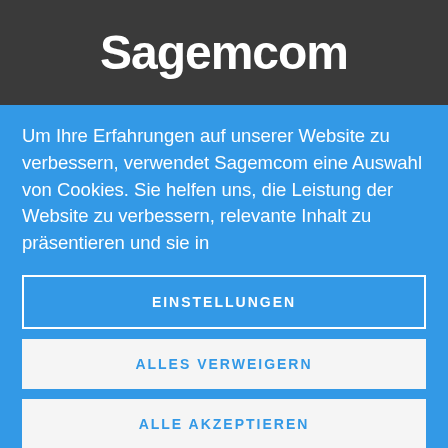[Figure (logo): Sagemcom logo — white bold sans-serif text on dark gray background]
Um Ihre Erfahrungen auf unserer Website zu verbessern, verwendet Sagemcom eine Auswahl von Cookies. Sie helfen uns, die Leistung der Website zu verbessern, relevante Inhalt zu präsentieren und sie in
EINSTELLUNGEN
ALLES VERWEIGERN
ALLE AKZEPTIEREN